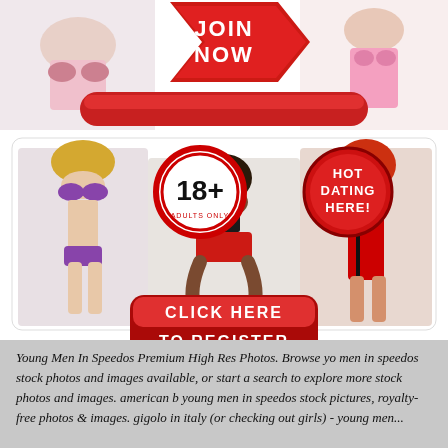[Figure (screenshot): Adult dating website advertisement. Top banner with red 'JOIN NOW' button. A popup overlay with an X close button, an '18+ ADULTS ONLY' circular badge, a 'HOT DATING HERE!' circular badge, three women in swimwear/lingerie, and a large red 'CLICK HERE TO REGISTER' button.]
Young Men In Speedos Premium High Res Photos. Browse young men in speedos stock photos and images available, or start a search to explore more stock photos and images. american b young men in speedos stock pictures, royalty-free photos & images. gigolo in italy (or checking out girls) - young men...